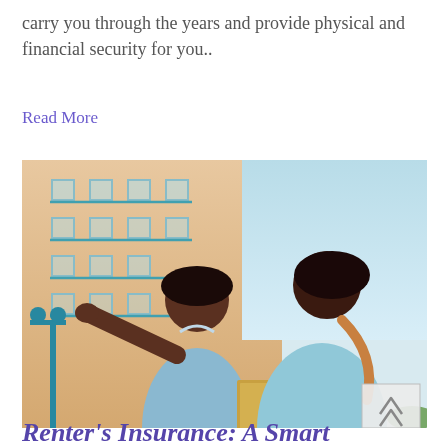carry you through the years and provide physical and financial security for you..
Read More
[Figure (photo): Two people, a man in a light blue shirt with dreadlocks gesturing with his arm outstretched and a woman in a light blue top holding folders, standing outdoors in front of a peach-colored apartment building with teal balcony railings, apparently discussing real estate or rental property.]
Renter's Insurance: A Smart...